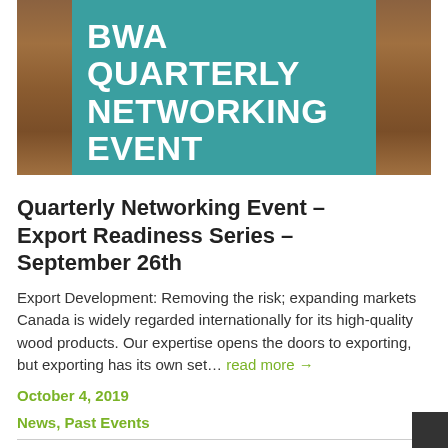[Figure (infographic): BWA Quarterly Networking Event Conestoga banner with teal center panel and wood-textured side panels. White bold text reads: BWA QUARTERLY NETWORKING EVENT CONESTOGA]
Quarterly Networking Event – Export Readiness Series – September 26th
Export Development: Removing the risk; expanding markets Canada is widely regarded internationally for its high-quality wood products. Our expertise opens the doors to exporting, but exporting has its own set… read more →
October 4, 2019
News, Past Events